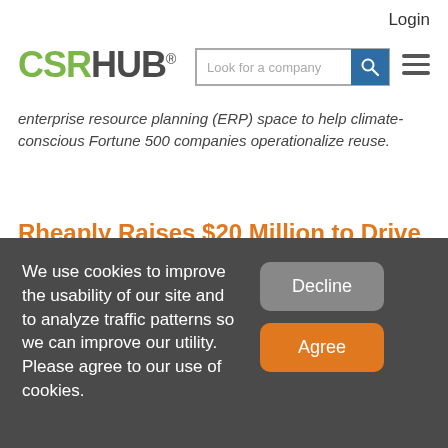Login
[Figure (logo): CSRHUB logo with green CSR and dark HUB lettering, registered trademark symbol]
enterprise resource planning (ERP) space to help climate-conscious Fortune 500 companies operationalize reuse.
Rheaply Raises $20 Million to Drive Revolutionary Shift in Enterprise Resource Management
We use cookies to improve the usability of our site and to analyze traffic patterns so we can improve our utility. Please agree to our use of cookies.